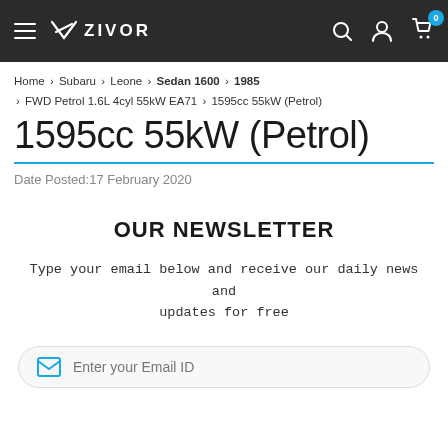ZIVOR — navigation bar with hamburger menu, logo, search, account, and cart icons
Home > Subaru > Leone > Sedan 1600 > 1985 > FWD Petrol 1.6L 4cyl 55kW EA71 > 1595cc 55kW (Petrol)
1595cc 55kW (Petrol)
Date Posted:17 February 2020
OUR NEWSLETTER
Type your email below and receive our daily news and updates for free
Enter your Email ID